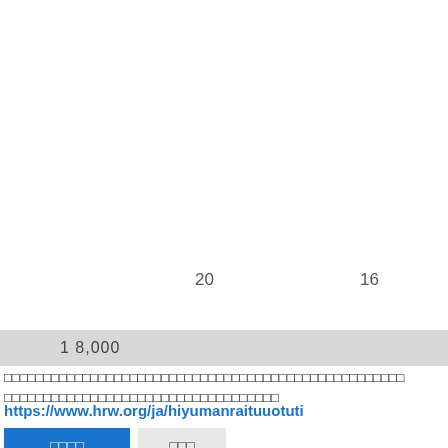20
16
1 8,000
□□□□□□□□□□□□□□□□□□□□□□□□□□□□□□□□□□□□□□□□□□□□□□□□□□ □□□□□□□□□□□□□□□□□□□□□□□□□□□□□□□□□□
https://www.hrw.org/ja/hiyumanraituuotuti
□□□□
□□□